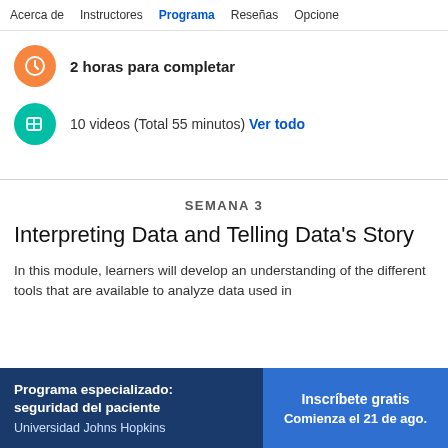Acerca de   Instructores   Programa   Reseñas   Opcione
2 horas para completar
10 videos (Total 55 minutos)  Ver todo
SEMANA 3
Interpreting Data and Telling Data's Story
In this module, learners will develop an understanding of the different tools that are available to analyze data used in
Programa especializado: seguridad del paciente
Universidad Johns Hopkins
Inscríbete gratis
Comienza el 21 de ago.